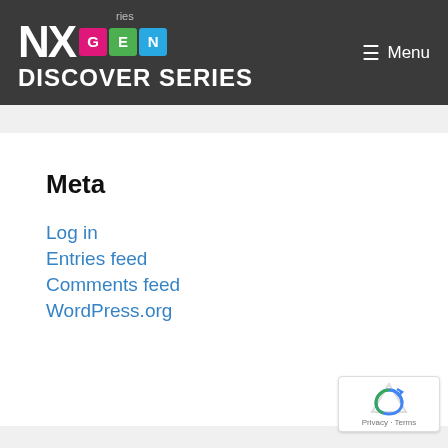[Figure (logo): NXGEN Discover Series logo with colorful G, E, N boxes on dark background header, and Menu icon on the right]
Meta
Log in
Entries feed
Comments feed
WordPress.org